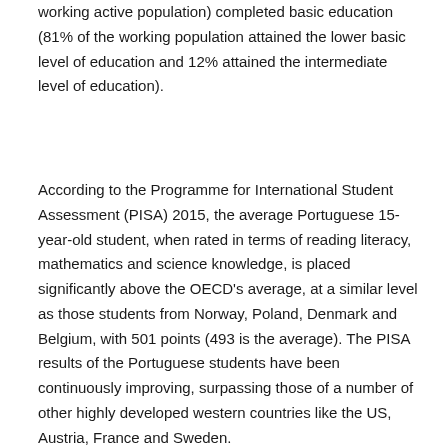working active population) completed basic education (81% of the working population attained the lower basic level of education and 12% attained the intermediate level of education).
According to the Programme for International Student Assessment (PISA) 2015, the average Portuguese 15-year-old student, when rated in terms of reading literacy, mathematics and science knowledge, is placed significantly above the OECD's average, at a similar level as those students from Norway, Poland, Denmark and Belgium, with 501 points (493 is the average). The PISA results of the Portuguese students have been continuously improving, surpassing those of a number of other highly developed western countries like the US, Austria, France and Sweden.